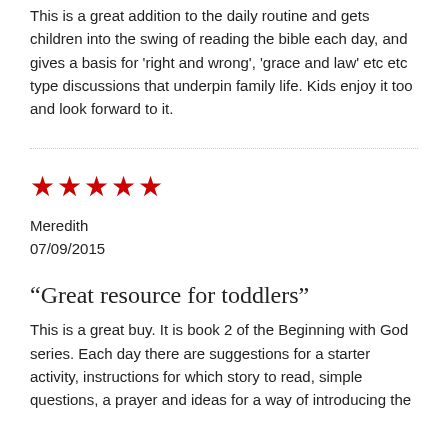This is a great addition to the daily routine and gets children into the swing of reading the bible each day, and gives a basis for 'right and wrong', 'grace and law' etc etc type discussions that underpin family life. Kids enjoy it too and look forward to it.
★★★★★
Meredith
07/09/2015
“Great resource for toddlers”
This is a great buy. It is book 2 of the Beginning with God series. Each day there are suggestions for a starter activity, instructions for which story to read, simple questions, a prayer and ideas for a way of introducing the